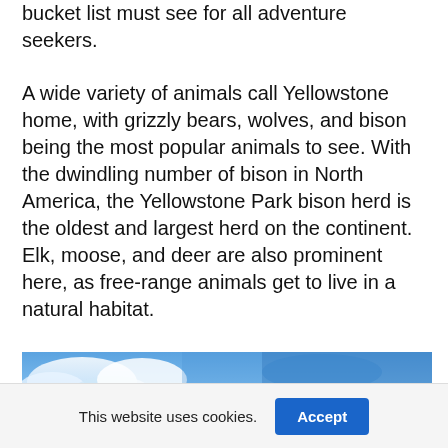bucket list must see for all adventure seekers.
A wide variety of animals call Yellowstone home, with grizzly bears, wolves, and bison being the most popular animals to see. With the dwindling number of bison in North America, the Yellowstone Park bison herd is the oldest and largest herd on the continent. Elk, moose, and deer are also prominent here, as free-range animals get to live in a natural habitat.
[Figure (photo): Partial photo showing a blue sky with clouds and the top of a landscape scene from Yellowstone.]
This website uses cookies.
Accept